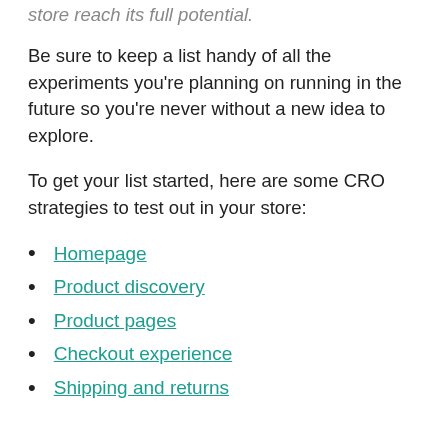store reach its full potential.
Be sure to keep a list handy of all the experiments you’re planning on running in the future so you’re never without a new idea to explore.
To get your list started, here are some CRO strategies to test out in your store:
Homepage
Product discovery
Product pages
Checkout experience
Shipping and returns